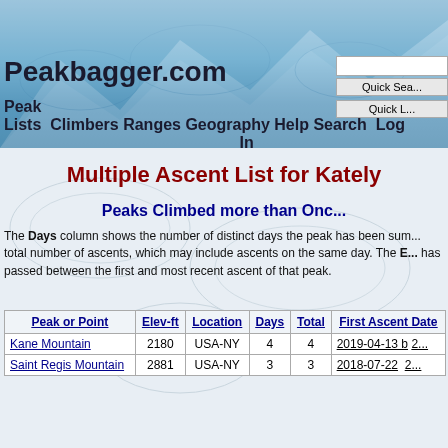Peakbagger.com — Peak Lists Climbers Ranges Geography Help Search Log In
Multiple Ascent List for Kately
Peaks Climbed more than Once
The Days column shows the number of distinct days the peak has been summited. Total shows the total number of ascents, which may include ascents on the same day. The E... has passed between the first and most recent ascent of that peak.
| Peak or Point | Elev-ft | Location | Days | Total | First Ascent Date |
| --- | --- | --- | --- | --- | --- |
| Kane Mountain | 2180 | USA-NY | 4 | 4 | 2019-04-13 b |
| Saint Regis Mountain | 2881 | USA-NY | 3 | 3 | 2018-07-22 |